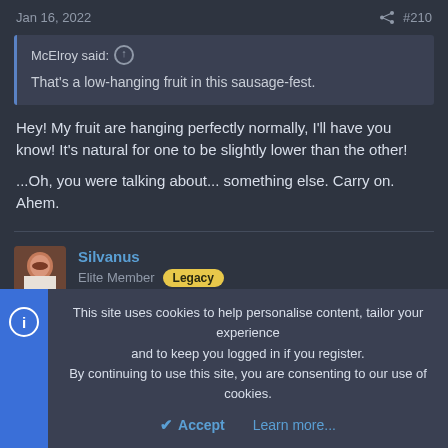Jan 16, 2022  #210
McElroy said: ↑

That's a low-hanging fruit in this sausage-fest.
Hey! My fruit are hanging perfectly normally, I'll have you know! It's natural for one to be slightly lower than the other!

...Oh, you were talking about... something else. Carry on. Ahem.
Silvanus
Elite Member Legacy
This site uses cookies to help personalise content, tailor your experience and to keep you logged in if you register.
By continuing to use this site, you are consenting to our use of cookies.

Accept  Learn more...